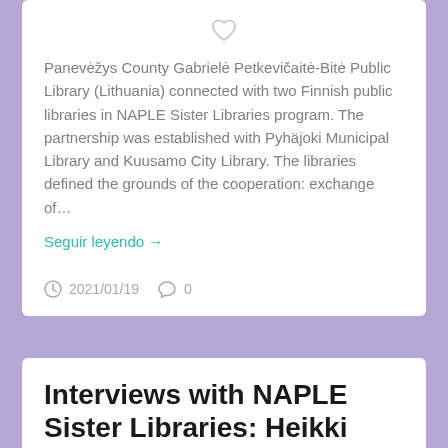Panevėžys County Gabrielė Petkevičaitė-Bitė Public Library (Lithuania) connected with two Finnish public libraries in NAPLE Sister Libraries program. The partnership was established with Pyhäjoki Municipal Library and Kuusamo City Library. The libraries defined the grounds of the cooperation: exchange of…
Seguir leyendo →
2021/01/19   0
Interviews with NAPLE Sister Libraries: Heikki Lahnaoja from Pyhäjoki Municipal Library (Finland)